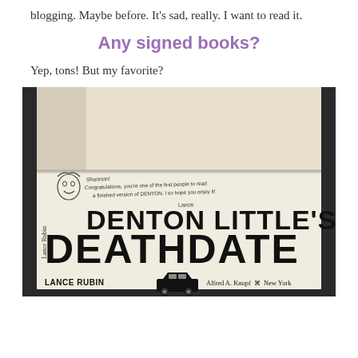blogging. Maybe before. It’s sad, really. I want to read it.
Any signed books?
Yep, tons! But my favorite?
[Figure (photo): Open book showing title page of 'Denton Little's Deathdate' by Lance Rubin, published by Alfred A. Knopf, New York. The page has a handwritten inscription reading 'Shannon! Congratulations, you're one of the first people to read a finished version of DENTON. I so hope you enjoy it! Lance' along with a small cartoon face sketch. The author's signature 'Lance Rubin' is also written vertically on the left side of the title page.]